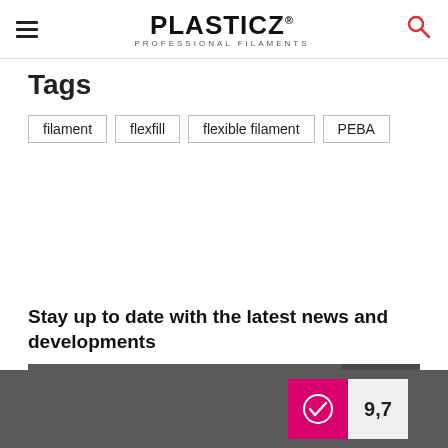PLASTICZ® PROFESSIONAL FILAMENTS
Tags
filament
flexfill
flexible filament
PEBA
Stay up to date with the latest news and developments
E-mail address
Send
9,7